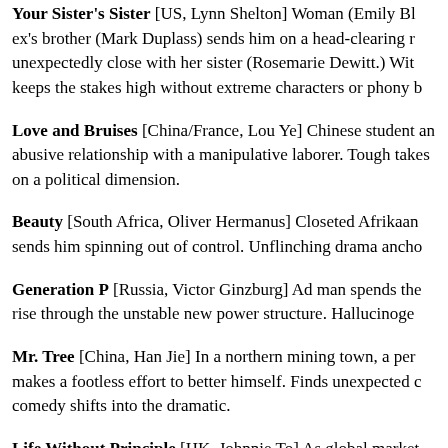Your Sister's Sister [US, Lynn Shelton] Woman (Emily Bl... ex's brother (Mark Duplass) sends him on a head-clearing r... unexpectedly close with her sister (Rosemarie Dewitt.) Wit... keeps the stakes high without extreme characters or phony b...
Love and Bruises [China/France, Lou Ye] Chinese student... an abusive relationship with a manipulative laborer. Tough ... takes on a political dimension.
Beauty [South Africa, Oliver Hermanus] Closeted Afrikaan... sends him spinning out of control. Unflinching drama ancho...
Generation P [Russia, Victor Ginzburg] Ad man spends the... rise through the unstable new power structure. Hallucinoge...
Mr. Tree [China, Han Jie] In a northern mining town, a per... makes a footless effort to better himself. Finds unexpected c... comedy shifts into the dramatic.
Life Without Principle [HK, Johnnie To] As global market... ripples through the lives of a disparate but interconnected g...